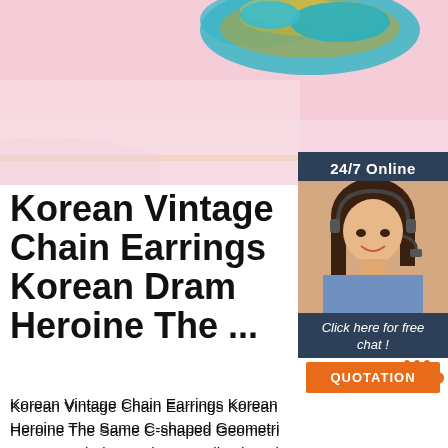[Figure (photo): Top portion of a decorative item with teal and gold ornamental design on a pink/white background]
[Figure (illustration): 24/7 Online customer service chat widget with a smiling woman wearing a headset, a 'Click here for free chat!' text and an orange QUOTATION button]
Korean Vintage Chain Earrings Korean Drama Heroine The ...
Korean Vintage Chain Earrings Korean Drama Heroine The Same C-shaped Geometric Earrings 03er022, Find Complete Details about Korean Vintage Chain Earrings Korean Drama Heroine The Same C-shaped Geometric Earrings 03er022,Chain Earrings,Vintage Earrings,C-shaped Geometric Earrings from Zinc Alloy Jewelry Supplier or Manufacturer-Yiwu Dingyang E...